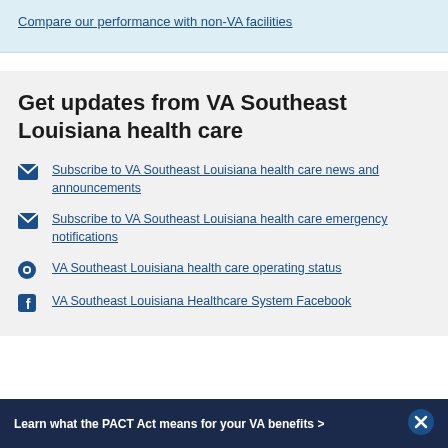Compare our performance with non-VA facilities
Get updates from VA Southeast Louisiana health care
Subscribe to VA Southeast Louisiana health care news and announcements
Subscribe to VA Southeast Louisiana health care emergency notifications
VA Southeast Louisiana health care operating status
VA Southeast Louisiana Healthcare System Facebook
Learn what the PACT Act means for your VA benefits >